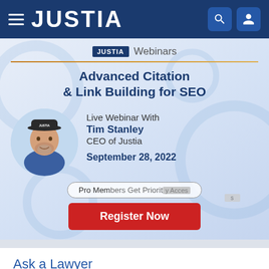JUSTIA
[Figure (screenshot): Justia Webinars promotional banner featuring a live webinar with Tim Stanley, CEO of Justia, on Advanced Citation & Link Building for SEO, September 28, 2022, with a Register Now button]
Ask a Lawyer
Question: